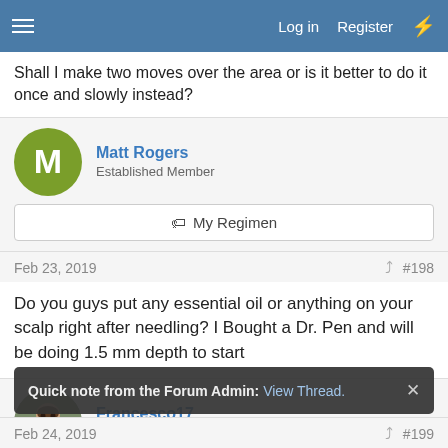Log in  Register
Shall I make two moves over the area or is it better to do it once and slowly instead?
Matt Rogers
Established Member
My Regimen
Feb 23, 2019  #198
Do you guys put any essential oil or anything on your scalp right after needling? I Bought a Dr. Pen and will be doing 1.5 mm depth to start
Francesco17
Established Member
My Regimen
Quick note from the Forum Admin: View Thread.
Feb 24, 2019  #199